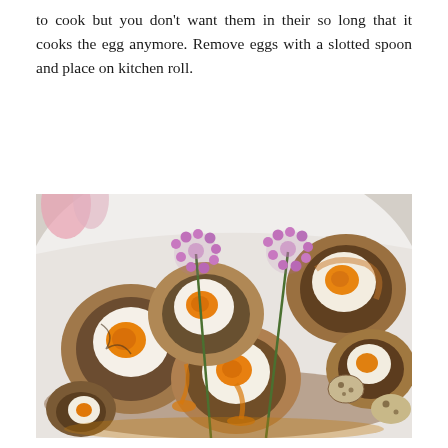to cook but you don't want them in their so long that it cooks the egg anymore. Remove eggs with a slotted spoon and place on kitchen roll.
[Figure (photo): A plate of sliced Scotch eggs with runny orange yolks, surrounded by decorative purple chive flowers on green stems and small quail eggs, served in a white bowl.]